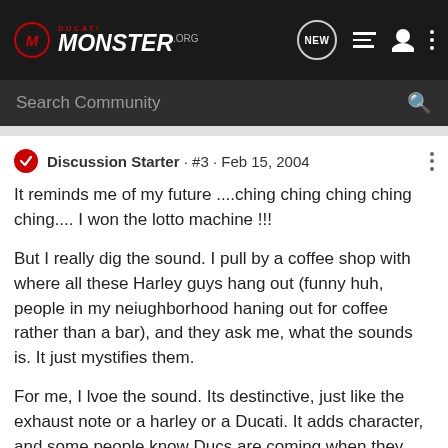[Figure (logo): Ducati Monster .org logo with red circular M icon]
Search Community
Discussion Starter · #3 · Feb 15, 2004
It reminds me of my future ....ching ching ching ching ching.... I won the lotto machine !!!
But I really dig the sound. I pull by a coffee shop with where all these Harley guys hang out (funny huh, people in my neiughborhood haning out for coffee rather than a bar), and they ask me, what the sounds is. It just mystifies them.
For me, I lvoe the sound. Its destinctive, just like the exhaust note or a harley or a Ducati. It adds character, and some people know Ducs are coming when they hear it from a distance.